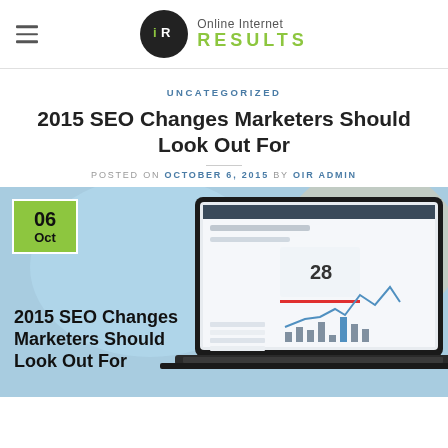Online Internet RESULTS
UNCATEGORIZED
2015 SEO Changes Marketers Should Look Out For
POSTED ON OCTOBER 6, 2015 BY OIR ADMIN
[Figure (photo): Laptop computer showing an analytics dashboard with a date badge overlay reading '06 Oct' and text overlay reading '2015 SEO Changes Marketers Should Look Out For']